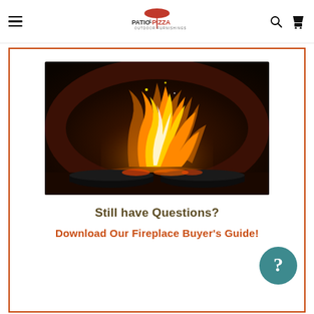Patio & Pizza Outdoor Furnishings — navigation header with hamburger menu, logo, search and cart icons
[Figure (photo): Photograph of a wood-fired oven interior with large roaring orange and yellow flames above two dark cast iron pans on the oven floor, set against a curved brick/stone dome backdrop.]
Still have Questions?
Download Our Fireplace Buyer's Guide!